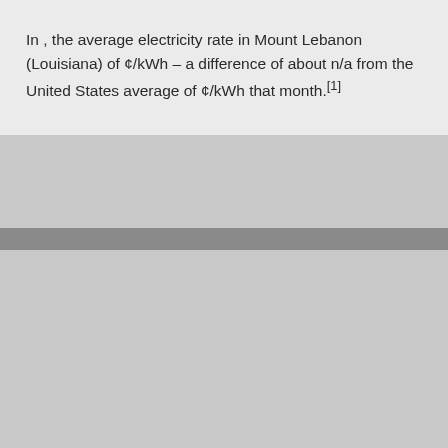In , the average electricity rate in Mount Lebanon (Louisiana) of ¢/kWh – a difference of about n/a from the United States average of ¢/kWh that month.[1]